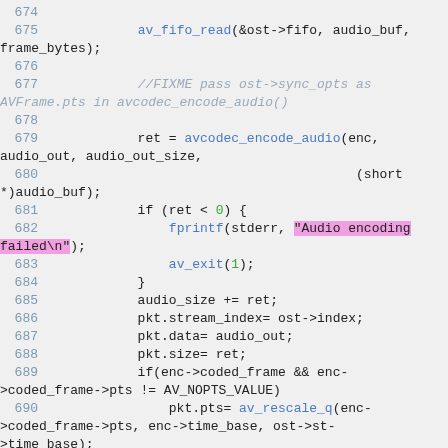674 - 690: C source code showing audio encoding logic with av_fifo_read, avcodec_encode_audio, fprintf, av_exit, and av_rescale_q function calls